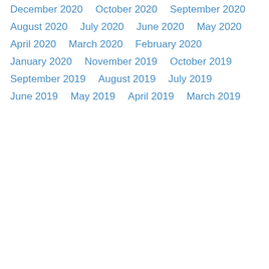December 2020
October 2020
September 2020
August 2020
July 2020
June 2020
May 2020
April 2020
March 2020
February 2020
January 2020
November 2019
October 2019
September 2019
August 2019
July 2019
June 2019
May 2019
April 2019
March 2019